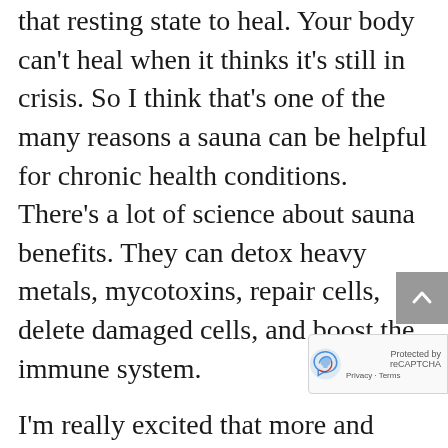that resting state to heal. Your body can't heal when it thinks it's still in crisis. So I think that's one of the many reasons a sauna can be helpful for chronic health conditions. There's a lot of science about sauna benefits. They can detox heavy metals, mycotoxins, repair cells, delete damaged cells, and boost the immune system.
I'm really excited that more and more people are buying them for their homes. It doesn't always need to be the fanciest, newest sauna as long as you're relaxed and you're getting a sweat. I own a far infrared sauna. It is a one person sauna and goes the deepest so it is the most detoxifying. Other levels are mid and